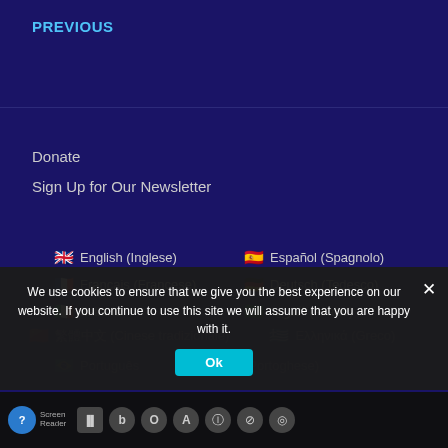PREVIOUS
Donate
Sign Up for Our Newsletter
🇬🇧 English (Inglese)  🇪🇸 Español (Spagnolo)
🇫🇷 Français (Francese)  🇩🇪 Deutsch (Tedesco)
🇮🇹 Italiano  🇸🇦 العربية (Arabo)
We use cookies to ensure that we give you the best experience on our website. If you continue to use this site we will assume that you are happy with it.
Ok